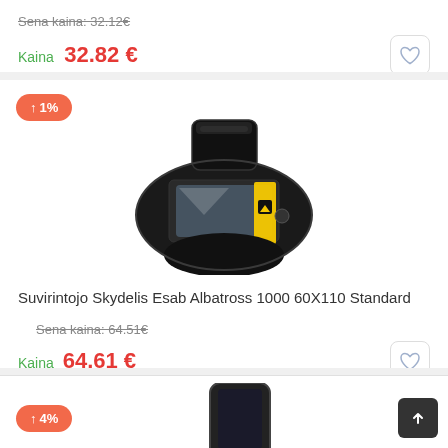Sena kaina: 32.12€
Kaina 32.82 €
[Figure (photo): Welding helmet/mask - Suvirintojo Skydelis Esab Albatross 1000 60X110 Standard, black with yellow ESAB branding]
↑ 1%
Suvirintojo Skydelis Esab Albatross 1000 60X110 Standard
Sena kaina: 64.51€
Kaina 64.61 €
↑ 4%